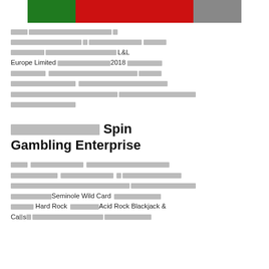[Figure (photo): Colorful casino/gambling related image banner at top of page]
Thai language text paragraph mentioning L&L Europe Limited and 2018
Thai language heading with Spin Gambling Enterprise
Thai language text paragraph mentioning Seminole Wild Card, Hard Rock, and Acid Rock Blackjack & Casino